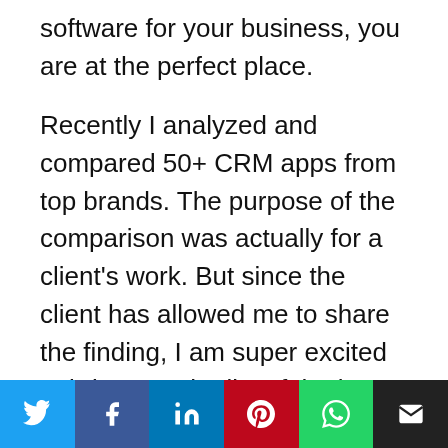software for your business, you are at the perfect place.
Recently I analyzed and compared 50+ CRM apps from top brands. The purpose of the comparison was actually for a client's work. But since the client has allowed me to share the finding, I am super excited to bring you the list of the best CRM software for online businesses.
In this article, I have listed the 15 best CRM apps, analyzed them, reviewed them and ranked them in
Social share bar: Twitter, Facebook, LinkedIn, Pinterest, WhatsApp, Email